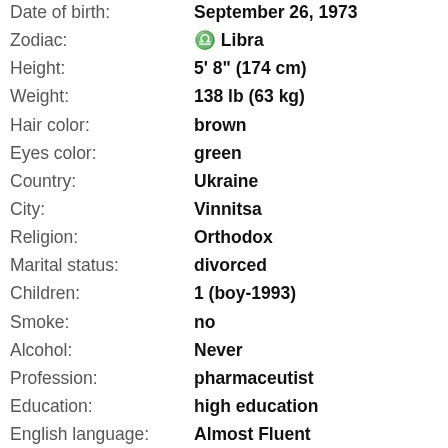| Field | Value |
| --- | --- |
| Date of birth: | September 26, 1973 |
| Zodiac: | ♎ Libra |
| Height: | 5' 8" (174 cm) |
| Weight: | 138 lb (63 kg) |
| Hair color: | brown |
| Eyes color: | green |
| Country: | Ukraine |
| City: | Vinnitsa |
| Religion: | Orthodox |
| Marital status: | divorced |
| Children: | 1 (boy-1993) |
| Smoke: | no |
| Alcohol: | Never |
| Profession: | pharmaceutist |
| Education: | high education |
| English language: | Almost Fluent |
| Others foreign languages: | Polish, Turkish |
| Seeks partner: | 46 - 65 years old |